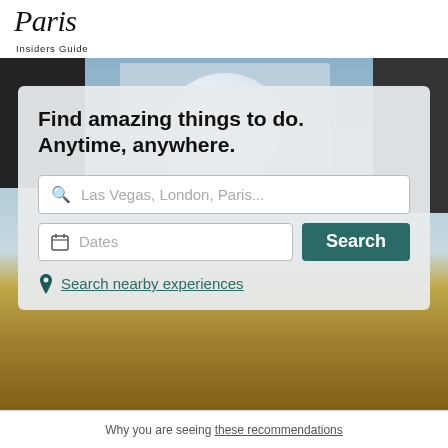Paris Insiders Guide
[Figure (screenshot): Hero image of a city scene with buildings, blue sky, and golden decorative element at the bottom]
Find amazing things to do. Anytime, anywhere.
Las Vegas, London, Paris...
Dates
Search
Search nearby experiences
Why you are seeing these recommendations